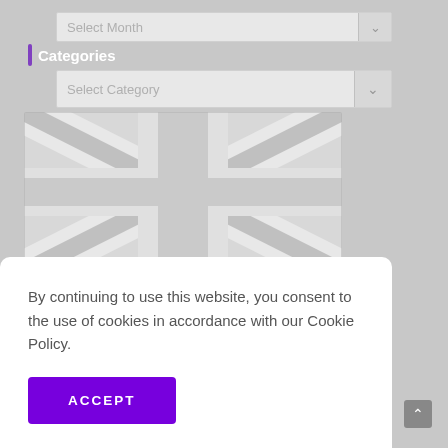Select Month
Categories
Select Category
[Figure (illustration): UK Union Jack flag rendered in grayscale/light gray tones on a gray background]
By continuing to use this website, you consent to the use of cookies in accordance with our Cookie Policy.
ACCEPT